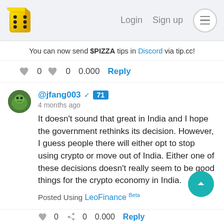Login  Sign up
You can now send $PIZZA tips in Discord via tip.cc!
0  0  0.000  Reply
@jfang003 71
4 months ago
It doesn't sound that great in India and I hope the government rethinks its decision. However, I guess people there will either opt to stop using crypto or move out of India. Either one of these decisions doesn't really seem to be good things for the crypto economy in India.
Posted Using LeoFinance Beta
0  0  0.000  Reply